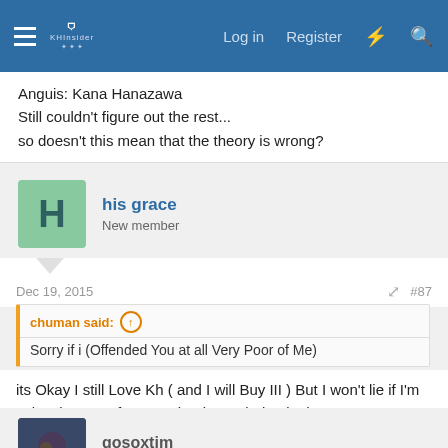KHInsider forum header with Log in, Register, and search icons
Anguis: Kana Hanazawa
Still couldn't figure out the rest...
so doesn't this mean that the theory is wrong?
his grace
New member
Dec 19, 2015  #87
chuman said: ↑
Sorry if i (Offended You at all Very Poor of Me)
its Okay I still Love Kh ( and I will Buy III ) But I won't lie if I'm salty about My fave Mechanic Not being in the game
gosoxtim
Silver Member